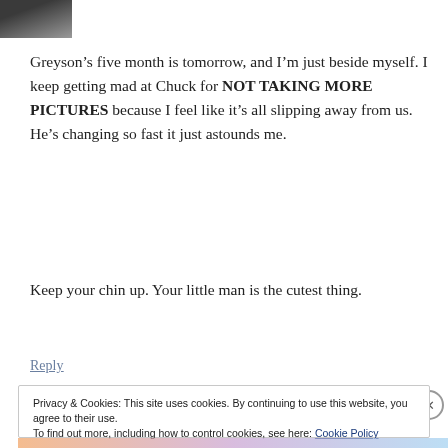[Figure (photo): Small avatar/profile picture thumbnail in top-left corner, grayscale]
Greyson’s five month is tomorrow, and I’m just beside myself. I keep getting mad at Chuck for NOT TAKING MORE PICTURES because I feel like it’s all slipping away from us. He’s changing so fast it just astounds me.
Keep your chin up. Your little man is the cutest thing.
Reply
Privacy & Cookies: This site uses cookies. By continuing to use this website, you agree to their use.
To find out more, including how to control cookies, see here: Cookie Policy
Close and accept